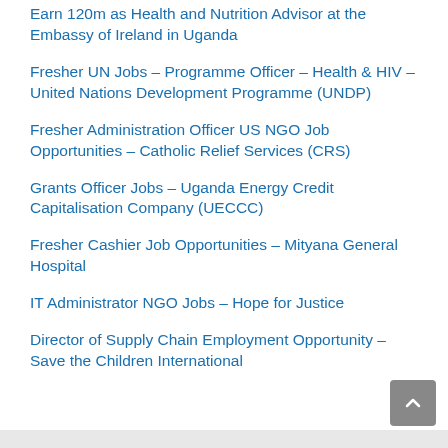Earn 120m as Health and Nutrition Advisor at the Embassy of Ireland in Uganda
Fresher UN Jobs – Programme Officer – Health & HIV – United Nations Development Programme (UNDP)
Fresher Administration Officer US NGO Job Opportunities – Catholic Relief Services (CRS)
Grants Officer Jobs – Uganda Energy Credit Capitalisation Company (UECCC)
Fresher Cashier Job Opportunities – Mityana General Hospital
IT Administrator NGO Jobs – Hope for Justice
Director of Supply Chain Employment Opportunity – Save the Children International